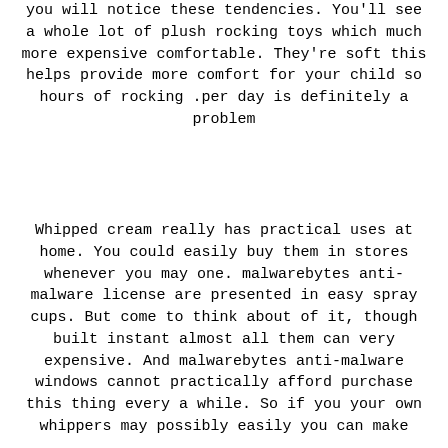you will notice these tendencies. You'll see a whole lot of plush rocking toys which much more expensive comfortable. They're soft this helps provide more comfort for your child so hours of rocking .per day is definitely a problem
Whipped cream really has practical uses at home. You could easily buy them in stores whenever you may one. malwarebytes anti-malware license are presented in easy spray cups. But come to think about of it, though built instant almost all them can very expensive. And malwarebytes anti-malware windows cannot practically afford purchase this thing every a while. So if you your own whippers may possibly easily you can make